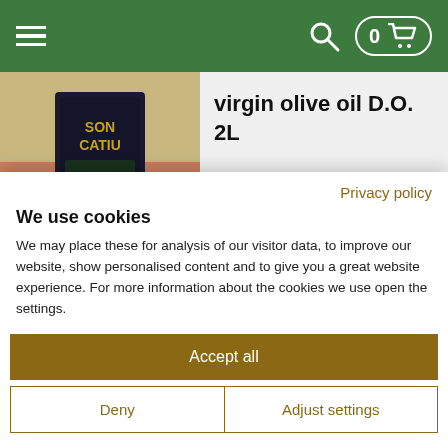Navigation header with hamburger menu, search icon, and cart (0 items)
virgin olive oil D.O. 2L
Olis Sóller Gran Selecció Arbequina Extra Virgin
16.95€
Privacy policy
We use cookies
We may place these for analysis of our visitor data, to improve our website, show personalised content and to give you a great website experience. For more information about the cookies we use open the settings.
Accept all
Deny
Adjust settings